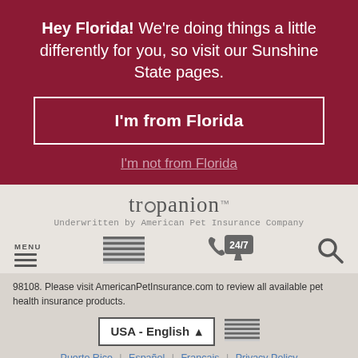Hey Florida! We're doing things a little differently for you, so visit our Sunshine State pages.
I'm from Florida
I'm not from Florida
[Figure (logo): Trupanion logo with circle-u mark]
Underwritten by American Pet Insurance Company
[Figure (infographic): Navigation bar with MENU hamburger, US flag icon, 24/7 phone icon, and search icon]
98108. Please visit AmericanPetInsurance.com to review all available pet health insurance products.
USA - English
Puerto Rico | Español | Français | Privacy Policy
Site Map | Terms of Use and Regulatory Info